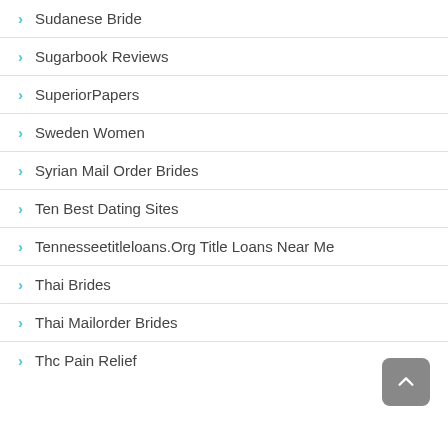Sudanese Bride
Sugarbook Reviews
SuperiorPapers
Sweden Women
Syrian Mail Order Brides
Ten Best Dating Sites
Tennesseetitleloans.Org Title Loans Near Me
Thai Brides
Thai Mailorder Brides
Thc Pain Relief